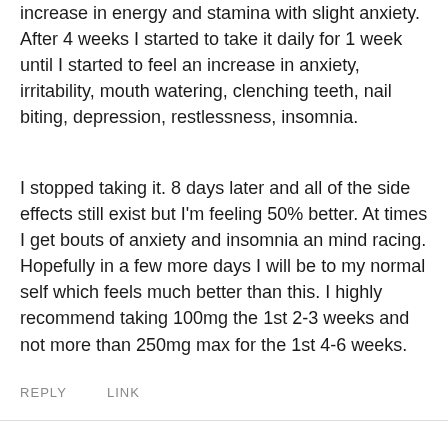increase in energy and stamina with slight anxiety. After 4 weeks I started to take it daily for 1 week until I started to feel an increase in anxiety, irritability, mouth watering, clenching teeth, nail biting, depression, restlessness, insomnia.
I stopped taking it. 8 days later and all of the side effects still exist but I'm feeling 50% better. At times I get bouts of anxiety and insomnia an mind racing. Hopefully in a few more days I will be to my normal self which feels much better than this. I highly recommend taking 100mg the 1st 2-3 weeks and not more than 250mg max for the 1st 4-6 weeks.
REPLY   LINK